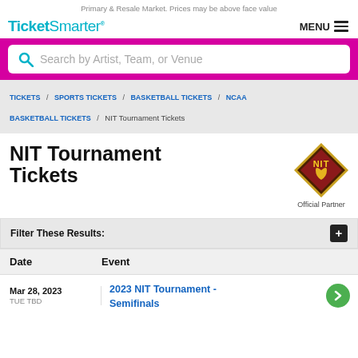Primary & Resale Market. Prices may be above face value
[Figure (logo): TicketSmarter logo in teal/cyan color]
[Figure (other): MENU hamburger button]
Search by Artist, Team, or Venue
TICKETS / SPORTS TICKETS / BASKETBALL TICKETS / NCAA BASKETBALL TICKETS / NIT Tournament Tickets
NIT Tournament Tickets
[Figure (logo): NIT logo diamond shaped badge]
Official Partner
Filter These Results:
| Date | Event |
| --- | --- |
| Mar 28, 2023
TUE TBD | 2023 NIT Tournament - Semifinals |